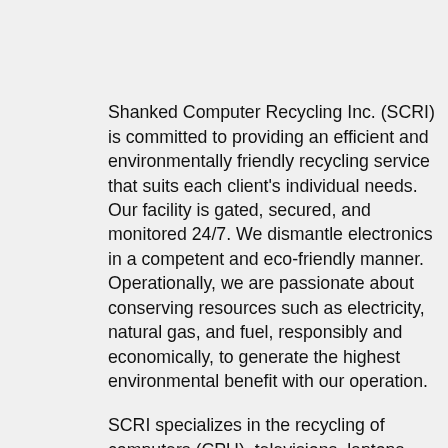Shanked Computer Recycling Inc. (SCRI) is committed to providing an efficient and environmentally friendly recycling service that suits each client's individual needs. Our facility is gated, secured, and monitored 24/7. We dismantle electronics in a competent and eco-friendly manner. Operationally, we are passionate about conserving resources such as electricity, natural gas, and fuel, responsibly and economically, to generate the highest environmental benefit with our operation.
SCRI specializes in the recycling of computers (CPU), televisions, laptops and printers, although we can safely recycle many other products. Our expertise in recycling allows us to offer genuine recycling solutions. Shanked Computer Recycling is an audited